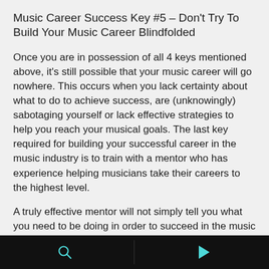Music Career Success Key #5 – Don't Try To Build Your Music Career Blindfolded
Once you are in possession of all 4 keys mentioned above, it's still possible that your music career will go nowhere. This occurs when you lack certainty about what to do to achieve success, are (unknowingly) sabotaging yourself or lack effective strategies to help you reach your musical goals. The last key required for building your successful career in the music industry is to train with a mentor who has experience helping musicians take their careers to the highest level.
A truly effective mentor will not simply tell you what you need to be doing in order to succeed in the music business. He will help you utilize all of the strengths